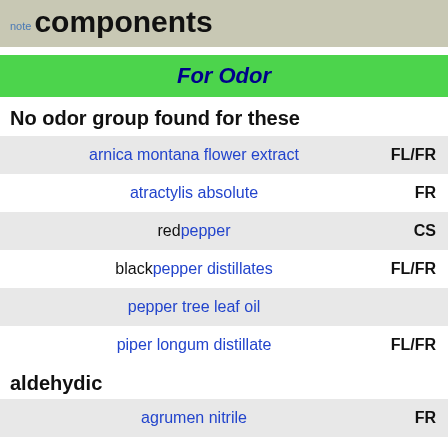note components
For Odor
No odor group found for these
arnica montana flower extract  FL/FR
atractylis absolute  FR
red pepper  CS
black pepper distillates  FL/FR
pepper tree leaf oil
piper longum distillate  FL/FR
aldehydic
agrumen nitrile  FR